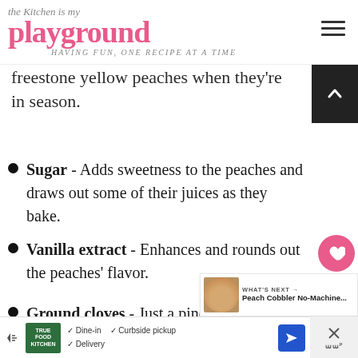the Kitchen is my playground — HAVING FUN, ONE RECIPE AT A TIME
freestone yellow peaches when they're in season.
Sugar - Adds sweetness to the peaches and draws out some of their juices as they bake.
Vanilla extract - Enhances and rounds out the peaches' flavor.
Ground cloves - Just a pinch of ground cloves pairs beautifully with the flavor of the peaches.
True Food Kitchen — Dine-in, Curbside pickup, Delivery